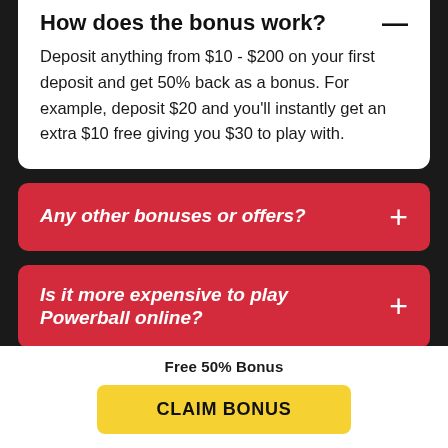How does the bonus work?
Deposit anything from $10 - $200 on your first deposit and get 50% back as a bonus. For example, deposit $20 and you'll instantly get an extra $10 free giving you $30 to play with.
Any other bonuses or offers?
Is it more expensive to play Powerball online?
Free 50% Bonus
CLAIM BONUS